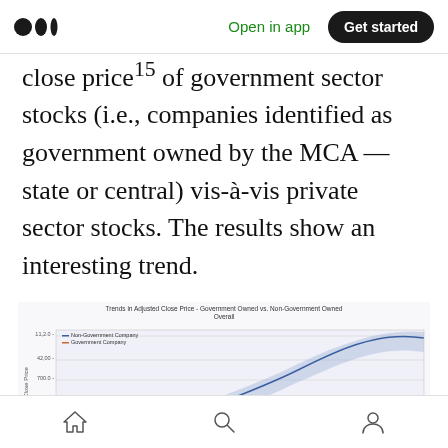Medium app header with logo, Open in app, Get started
close price¹⁵ of government sector stocks (i.e., companies identified as government owned by the MCA — state or central) vis-à-vis private sector stocks. The results show an interesting trend.
[Figure (continuous-plot): Line chart with confidence bands showing trends in adjusted close price over time for Non-Government Company (blue line with shaded band) vs Government Company (orange/red line with shaded band). The non-government line rises steeply over time reaching much higher values, while the government line remains relatively flat near the bottom.]
Navigation bar with home, search, and profile icons